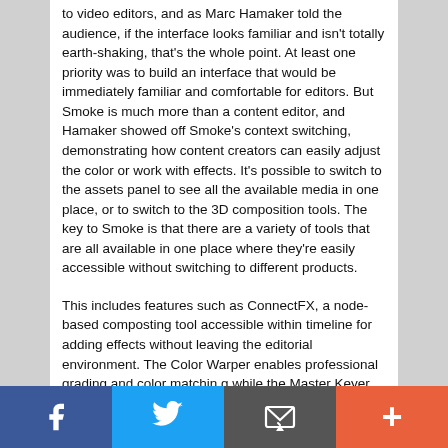to video editors, and as Marc Hamaker told the audience, if the interface looks familiar and isn't totally earth-shaking, that's the whole point. At least one priority was to build an interface that would be immediately familiar and comfortable for editors. But Smoke is much more than a content editor, and Hamaker showed off Smoke's context switching, demonstrating how content creators can easily adjust the color or work with effects. It's possible to switch to the assets panel to see all the available media in one place, or to switch to the 3D composition tools. The key to Smoke is that there are a variety of tools that are all available in one place where they're easily accessible without switching to different products.
This includes features such as ConnectFX, a node-based composting tool accessible within timeline for adding effects without leaving the editorial environment. The Color Warper enables professional grading and color matchin,g while the Master Keyer enables one-click chroma-keying and stereoscopic 3D editing and effects.
Addressing some of the areas where Apple has lost ground, Autodesk says Smoke will work with Native Media, such as MOV, MXF, RED. All available files are displayed and accessible through the MediaHub feature enabling ingest to edit.
Facebook | Twitter | Email | Plus